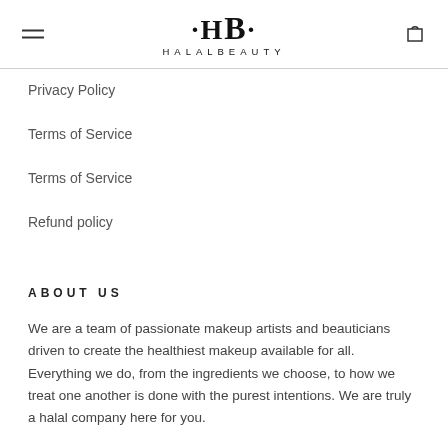·HB· HALALBEAUTY
Privacy Policy
Terms of Service
Terms of Service
Refund policy
ABOUT US
We are a team of passionate makeup artists and beauticians driven to create the healthiest makeup available for all. Everything we do, from the ingredients we choose, to how we treat one another is done with the purest intentions. We are truly a halal company here for you.